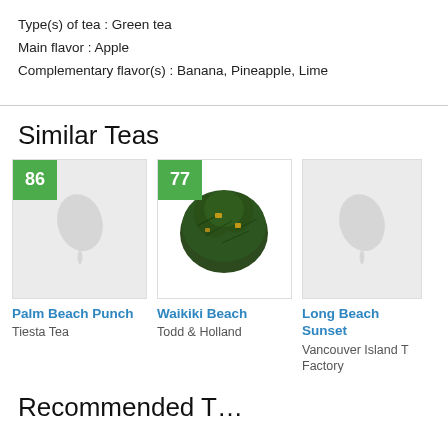Type(s) of tea : Green tea
Main flavor : Apple
Complementary flavor(s) : Banana, Pineapple, Lime
Similar Teas
[Figure (photo): Card showing tea score badge 86 with gray leaf placeholder for Palm Beach Punch by Tiesta Tea]
[Figure (photo): Card showing tea score badge 77 with photo of loose leaf green tea (Waikiki Beach by Todd & Holland)]
[Figure (photo): Card showing gray leaf placeholder for Long Beach Sunset by Vancouver Island Tea Factory (partially cropped)]
Recommended T…